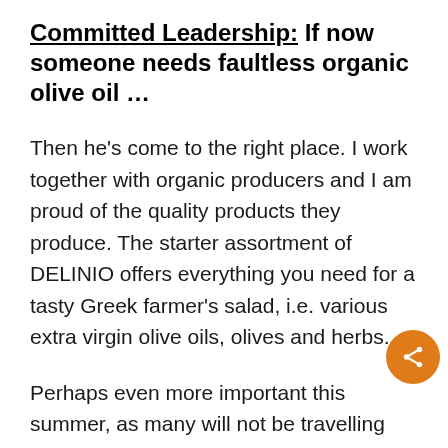Committed Leadership: If now someone needs faultless organic olive oil …
Then he's come to the right place. I work together with organic producers and I am proud of the quality products they produce. The starter assortment of DELINIO offers everything you need for a tasty Greek farmer's salad, i.e. various extra virgin olive oils, olives and herbs.
Perhaps even more important this summer, as many will not be travelling